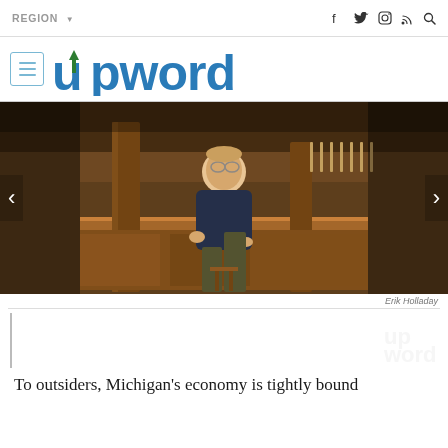REGION ▾
[Figure (logo): upword logo with menu hamburger icon]
[Figure (photo): Man sitting at a wooden bar interior, wearing a dark navy sweater]
Erik Holladay
To outsiders, Michigan's economy is tightly bound